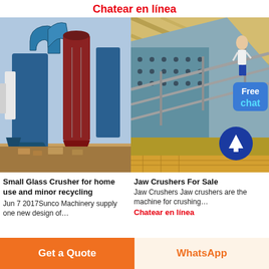Chatear en línea
[Figure (photo): Industrial glass crusher machine with blue pipes and red cylinder silo outdoors]
[Figure (photo): Jaw crusher equipment shown from below at an angle, industrial machinery with steel frame and springs]
Small Glass Crusher for home use and minor recycling
Jun 7 2017Sunco Machinery supply one new design of…
Chatear en línea
Jaw Crushers For Sale
Jaw Crushers Jaw crushers are the machine for crushing…
Chatear en línea
Get a Quote
WhatsApp